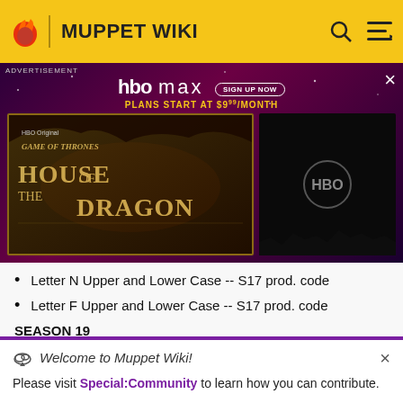MUPPET WIKI
[Figure (screenshot): HBO Max advertisement banner featuring House of the Dragon. Purple/dark background with sparkles. Shows HBO max logo with SIGN UP NOW button, PLANS START AT $9.99/MONTH text, House of the Dragon show image on left, HBO logo on right.]
Letter N Upper and Lower Case -- S17 prod. code
Letter F Upper and Lower Case -- S17 prod. code
SEASON 19
Outerspace Shapes: Septagon/Heptagon -- S15
Welcome to Muppet Wiki!
Please visit Special:Community to learn how you can contribute.